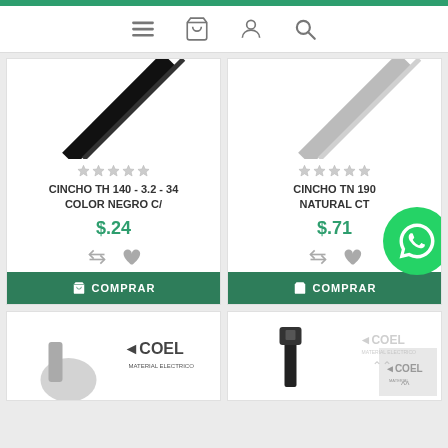[Figure (screenshot): E-commerce website navigation bar with hamburger menu, cart, user, and search icons on white background with teal top border]
[Figure (screenshot): Product card: CINCHO TH 140 - 3.2 - 34 COLOR NEGRO C/ with black cable tie image, 5 star rating, price $.24, compare and wishlist icons, COMPRAR button]
[Figure (screenshot): Product card: CINCHO TN 190 NATURAL CT with gray/white cable tie image, 5 star rating, price $.71, compare and wishlist icons, COMPRAR button, WhatsApp bubble overlay]
[Figure (screenshot): Bottom product card with COEL logo and cable tie connector image]
[Figure (screenshot): Bottom product card with black cable tie image and COEL watermark]